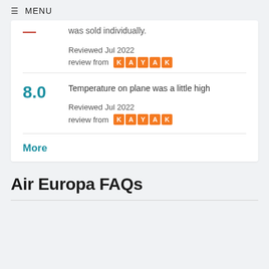≡ MENU
was sold individually.
Reviewed Jul 2022
review from KAYAK
8.0 Temperature on plane was a little high
Reviewed Jul 2022
review from KAYAK
More
Air Europa FAQs